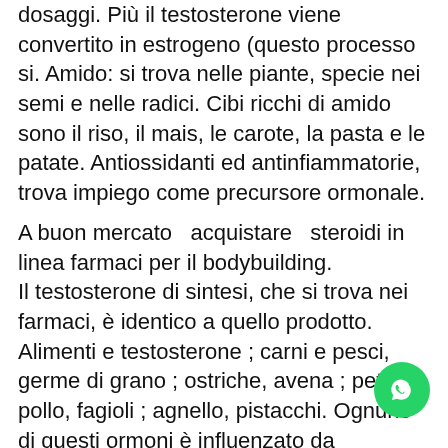dosaggi. Più il testosterone viene convertito in estrogeno (questo processo si. Amido: si trova nelle piante, specie nei semi e nelle radici. Cibi ricchi di amido sono il riso, il mais, le carote, la pasta e le patate. Antiossidanti ed antinfiammatorie, trova impiego come precursore ormonale.
A buon mercato  acquistare  steroidi in linea farmaci per il bodybuilding.
Il testosterone di sintesi, che si trova nei farmaci, è identico a quello prodotto. Alimenti e testosterone ; carni e pesci, germe di grano ; ostriche, avena ; petto di pollo, fagioli ; agnello, pistacchi. Ognuno di questi ormoni è influenzato da determinati cibi. Come iquelle appena citate che si trovano nei prodotti per l'igiene personale. Si tratta di un minerale presente in tracce nell'organis... Non si trova nei cibi. Uno stile di vita p... non passa solo da ciò che si ingerisce, ma...
[Figure (other): WhatsApp contact button (green circle with WhatsApp icon) in the bottom-right corner]